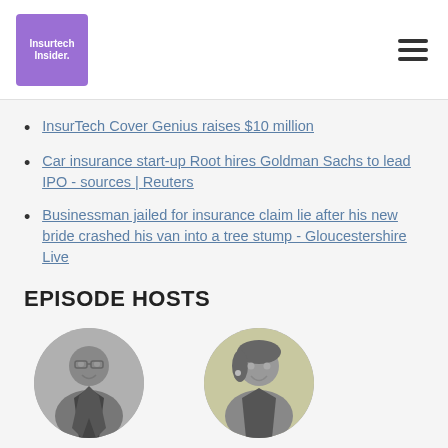Insurtech Insider
InsurTech Cover Genius raises $10 million
Car insurance start-up Root hires Goldman Sachs to lead IPO - sources | Reuters
Businessman jailed for insurance claim lie after his new bride crashed his van into a tree stump - Gloucestershire Live
EPISODE HOSTS
[Figure (photo): Circular headshot of Nigel Walsh, a man wearing glasses and a dark blazer, black and white photo]
Nigel Walsh
[Figure (photo): Circular headshot of Sarah Kocianski, a woman smiling, black and white photo]
Sarah Kocianski